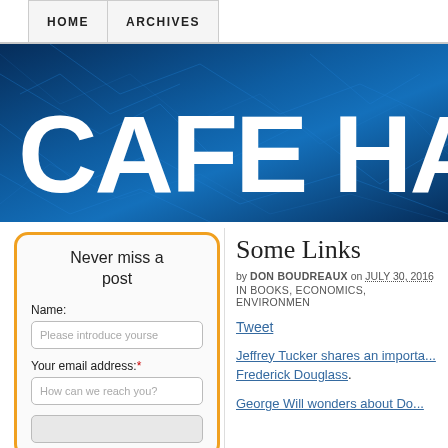HOME | ARCHIVES
[Figure (illustration): Cafe Hayek website banner with blue circuit/network pattern background and large white bold text reading 'CAFE HAY' (truncated)]
Never miss a post
Name: [Please introduce yourself] Your email address:* [How can we reach you?]
Some Links
by DON BOUDREAUX on JULY 30, 2016 in BOOKS, ECONOMICS, ENVIRONMEN...
Tweet
Jeffrey Tucker shares an importa... Frederick Douglass.
George Will wonders about Do...